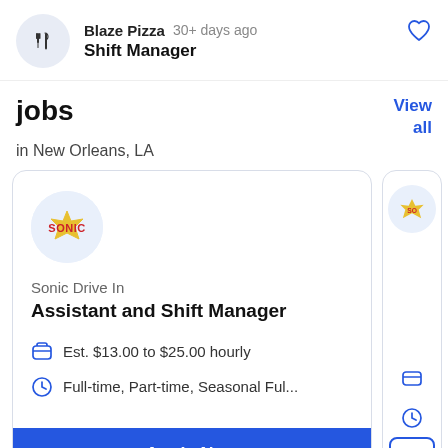Blaze Pizza  30+ days ago  Shift Manager
jobs
View all
in New Orleans, LA
[Figure (screenshot): Sonic Drive In logo circular icon with blue circle background]
Sonic Drive In
Assistant and Shift Manager
Est. $13.00 to $25.00 hourly
Full-time, Part-time, Seasonal Ful...
Apply Now